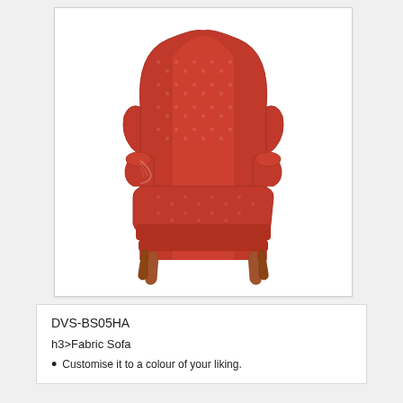[Figure (photo): A red fabric wingback armchair with wooden legs, shown against a white background inside a light-bordered image box.]
DVS-BS05HA
h3>Fabric Sofa
Customise it to a colour of your liking.